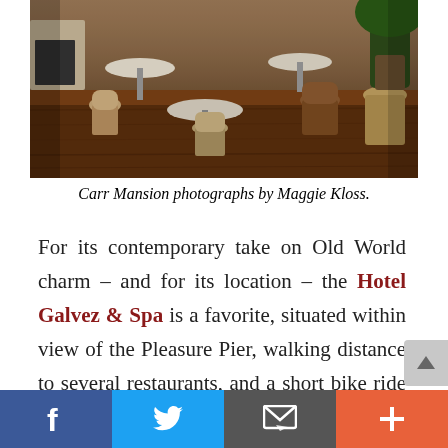[Figure (photo): Interior of Carr Mansion showing wooden floors, rattan bistro chairs, leather chairs, and round marble-top tables in a warm dining room setting]
Carr Mansion photographs by Maggie Kloss.
For its contemporary take on Old World charm – and for its location – the Hotel Galvez & Spa is a favorite, situated within view of the Pleasure Pier, walking distance to several restaurants, and a short bike ride to many of the island's best attractions. The
[Figure (screenshot): Social sharing bar with Facebook, Twitter, email, and plus/more buttons]